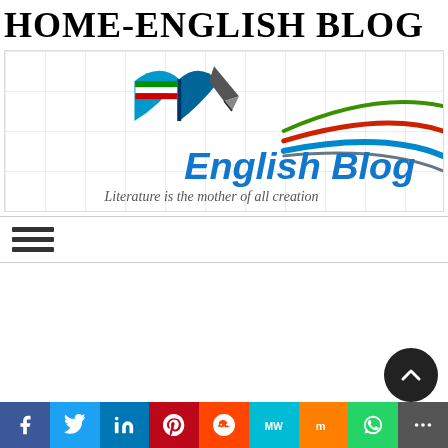HOME-ENGLISH BLOG
[Figure (logo): English Blog logo with open book icon, pen nib, coloured swoosh lines in red, green, blue. Text: 'English Blog' in blue, subtitle: 'Literature is the mother of all creation']
[Figure (other): Hamburger menu icon (three horizontal lines)]
[Figure (other): Scroll-to-top button, dark circle with upward chevron]
[Figure (infographic): Social sharing bar: Facebook, Twitter, LinkedIn, Pinterest, Reddit, MeWe, Mix, WhatsApp, More]